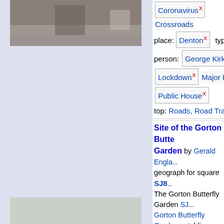[Figure (photo): Street photo at top left area - partial view of road/building]
Coronavirus x  Crossroads
place: Denton x  type: Geog...
person: George Kirkpatrick x
Lockdown x  Major Road J...
Public House x
top: Roads, Road Transport...
Site of the Gorton Butterfly Garden by Gerald England... geograph for square SJ8... The Gorton Butterfly Garden SJ... Gorton Butterfly Garden establi... 1998 has now... (more)
Tags: date: 1998 x  road: A P...
road: A57  Butterfly Garden...
Former Butterfly Garden x
type: Geograph x  place: Go...
[Figure (photo): Road photo showing A57 with trees and overcast sky - Site of Gorton Butterfly Garden]
Road Widening x
top: Roads, Road Transport...
Roadworks x